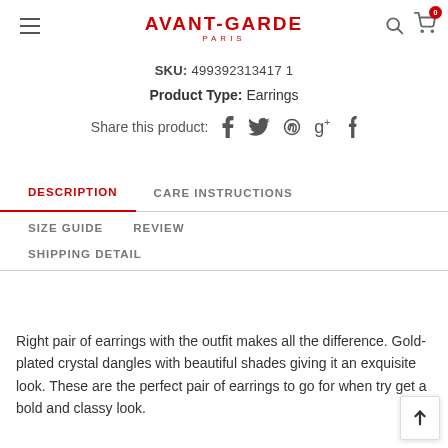AVANT-GARDE PARIS
SKU: 499392313417 1
Product Type: Earrings
Share this product: f  t  g+  t
DESCRIPTION
CARE INSTRUCTIONS
SIZE GUIDE
REVIEW
SHIPPING DETAIL
Right pair of earrings with the outfit makes all the difference. Gold-plated crystal dangles with beautiful shades giving it an exquisite look. These are the perfect pair of earrings to go for when try get a bold and classy look.